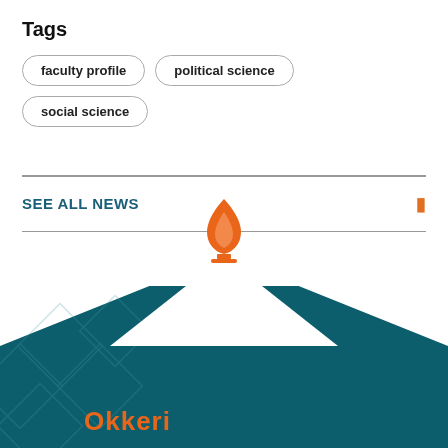Tags
faculty profile
political science
social science
SEE ALL NEWS
[Figure (logo): University torch/flame logo with orange flame on a pedestal, positioned above a teal footer with diamond pattern background and partial university name text in orange at the bottom.]